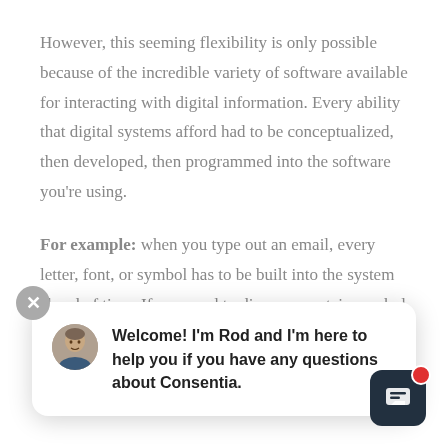However, this seeming flexibility is only possible because of the incredible variety of software available for interacting with digital information. Every ability that digital systems afford had to be conceptualized, then developed, then programmed into the software you're using.
For example: when you type out an email, every letter, font, or symbol has to be built into the system ahead of time. If you need to discuss a certain symbol or image, or use
[Figure (screenshot): Chat popup widget showing avatar of a man, with message: Welcome! I'm Rod and I'm here to help you if you have any questions about Consentia. Includes a close (X) button and a chat widget icon with red notification dot.]